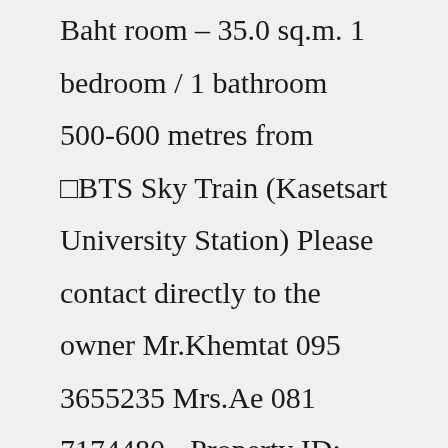Baht room – 35.0 sq.m. 1 bedroom / 1 bathroom 500-600 metres from ฀BTS Sky Train (Kasetsart University Station) Please contact directly to the owner Mr.Khemtat 095 3655235 Mrs.Ae 081 7174480 - Property ID: 3781193Costs 10 - 40 baht, depending on the number of stops. Great deals with unlimited 1/3 day travel passes are available. Just 280 Baht buys a 3 day unlimited travel pass or, if you're planning to stay longer or return to the city later, buy